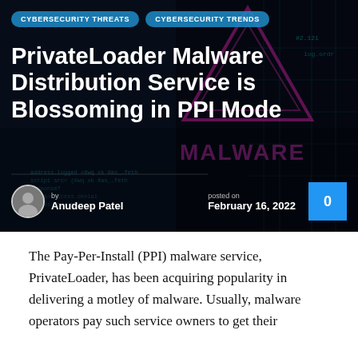[Figure (photo): Dark cybersecurity background image with neon pink/blue colors showing code, malware warning triangle, and the word MALWARE in pink text]
CYBERSECURITY THREATS | CYBERSECURITY TRENDS
PrivateLoader Malware Distribution Service is Blossoming in PPI Mode
by Anudeep Patel | posted on February 16, 2022 | 0
The Pay-Per-Install (PPI) malware service, PrivateLoader, has been acquiring popularity in delivering a motley of malware. Usually, malware operators pay such service owners to get their